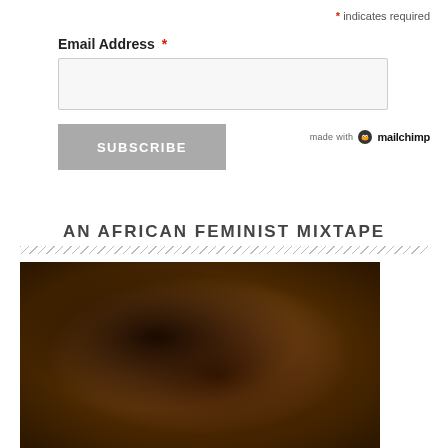* indicates required
Email Address *
SUBSCRIBE
[Figure (logo): Mailchimp logo with 'made with' text and Mailchimp branding]
AN AFRICAN FEMINIST MIXTAPE
[Figure (photo): Portrait photo of a woman with large curly hair, wearing a dark top with beaded necklace, tattoos visible on arm, posed against a grey textured background]